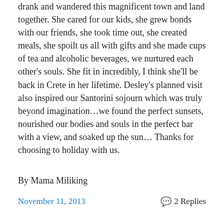drank and wandered this magnificent town and land together. She cared for our kids, she grew bonds with our friends, she took time out, she created meals, she spoilt us all with gifts and she made cups of tea and alcoholic beverages, we nurtured each other's souls. She fit in incredibly, I think she'll be back in Crete in her lifetime. Desley's planned visit also inspired our Santorini sojourn which was truly beyond imagination…we found the perfect sunsets, nourished our bodies and souls in the perfect bar with a view, and soaked up the sun… Thanks for choosing to holiday with us.
By Mama Miliking
November 11, 2013
2 Replies